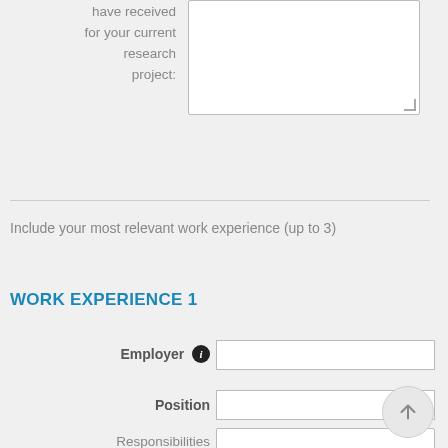have received for your current research project:
Include your most relevant work experience (up to 3)
WORK EXPERIENCE 1
Employer
Position
Responsibilities / Achievements